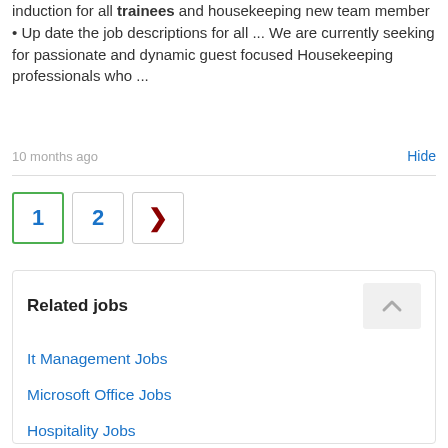induction for all trainees and housekeeping new team member • Update the job descriptions for all ... We are currently seeking for passionate and dynamic guest focused Housekeeping professionals who ...
10 months ago
Hide
1  2  >
Related jobs
It Management Jobs
Microsoft Office Jobs
Hospitality Jobs
IT Security Jobs
Building Jobs